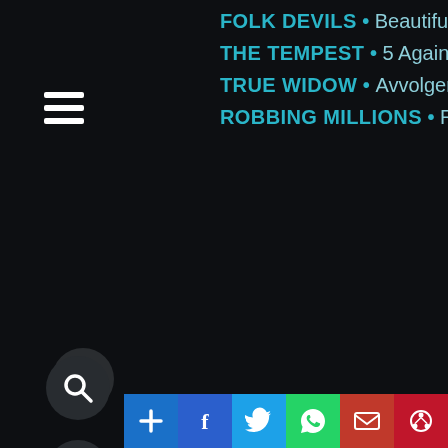[Figure (infographic): Hamburger menu icon (three horizontal white lines)]
FOLK DEVILS • Beautiful Monsters
THE TEMPEST • 5 Against The House
TRUE WIDOW • Avvolgere
ROBBING MILLIONS • Robbing Millions
[Figure (infographic): Search magnifying glass icon button]
[Figure (infographic): Grid/apps icon button]
[Figure (infographic): Rewind/previous icon button]
[Figure (infographic): Fast forward/next icon button]
[Figure (infographic): Share bar with buttons: Add (+), Facebook (f), Twitter bird, WhatsApp, Email, Pinterest]